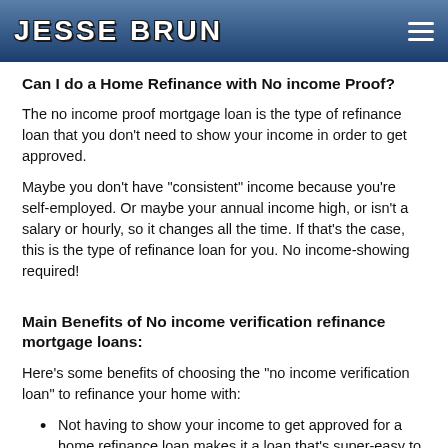JESSE BRUN
Can I do a Home Refinance with No income Proof?
The no income proof mortgage loan is the type of refinance loan that you don't need to show your income in order to get approved.
Maybe you don't have "consistent" income because you're self-employed. Or maybe your annual income high, or isn't a salary or hourly, so it changes all the time. If that's the case, this is the type of refinance loan for you. No income-showing required!
Main Benefits of No income verification refinance mortgage loans:
Here's some benefits of choosing the "no income verification loan" to refinance your home with:
Not having to show your income to get approved for a home refinance loan makes it a loan that's super-easy to